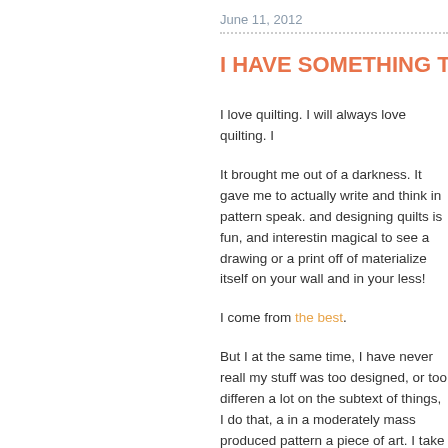June 11, 2012
I HAVE SOMETHING TO SA
I love quilting. I will always love quilting. I
It brought me out of a darkness. It gave me to actually write and think in pattern speak. and designing quilts is fun, and interestin magical to see a drawing or a print off of materialize itself on your wall and in your less!
I come from the best.
But I at the same time, I have never reall my stuff was too designed, or too differen a lot on the subtext of things, I do that, a in a moderately mass produced pattern a piece of art. I take that back, I know it do
So that made me question the validity of I've been waging a bit of a war with myse this. Will people get it. Will people care. I keep doing this? Keep investing in this?